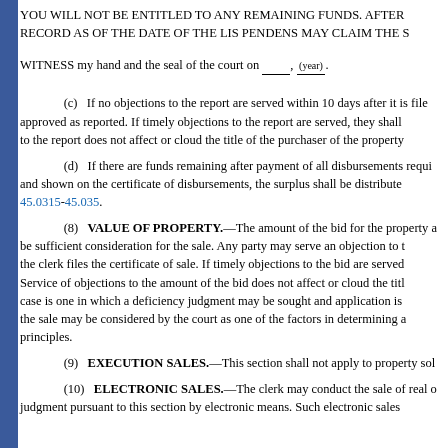YOU WILL NOT BE ENTITLED TO ANY REMAINING FUNDS. AFTER RECORD AS OF THE DATE OF THE LIS PENDENS MAY CLAIM THE S
WITNESS my hand and the seal of the court on ____, _(year)_.
(c) If no objections to the report are served within 10 days after it is filed, approved as reported. If timely objections to the report are served, they shall to the report does not affect or cloud the title of the purchaser of the property
(d) If there are funds remaining after payment of all disbursements requi and shown on the certificate of disbursements, the surplus shall be distributed 45.0315-45.035.
(8) VALUE OF PROPERTY.—The amount of the bid for the property a be sufficient consideration for the sale. Any party may serve an objection to the clerk files the certificate of sale. If timely objections to the bid are served Service of objections to the amount of the bid does not affect or cloud the titl case is one in which a deficiency judgment may be sought and application is the sale may be considered by the court as one of the factors in determining a principles.
(9) EXECUTION SALES.—This section shall not apply to property sol
(10) ELECTRONIC SALES.—The clerk may conduct the sale of real o judgment pursuant to this section by electronic means. Such electronic sales